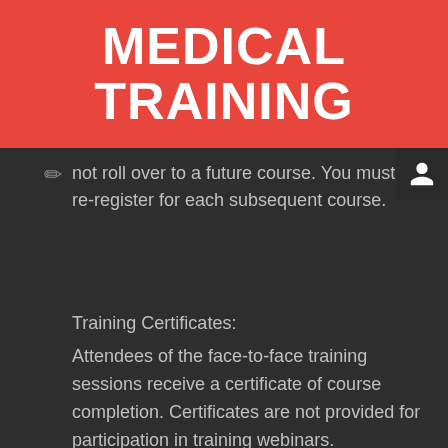MEDICAL TRAINING
not roll over to a future course. You must re-register for each subsequent course.
Training Certificates:
Attendees of the face-to-face training sessions receive a certificate of course completion. Certificates are not provided for participation in training webinars.
[Figure (photo): Two people viewed from behind sitting in a training/classroom setting]